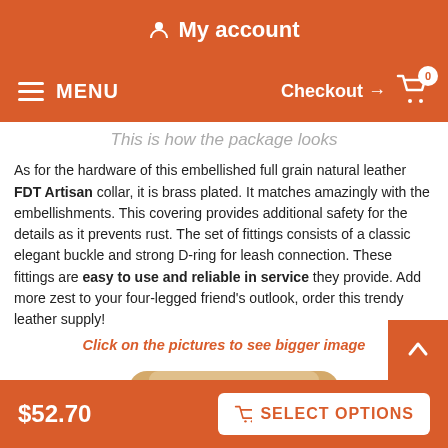My account
MENU   Checkout → 0
This is how the package looks
As for the hardware of this embellished full grain natural leather FDT Artisan collar, it is brass plated. It matches amazingly with the embellishments. This covering provides additional safety for the details as it prevents rust. The set of fittings consists of a classic elegant buckle and strong D-ring for leash connection. These fittings are easy to use and reliable in service they provide. Add more zest to your four-legged friend's outlook, order this trendy leather supply!
Click on the pictures to see bigger image
[Figure (photo): A tan/beige leather collar package shown from above, rectangular shape with rounded corners]
$52.70   SELECT OPTIONS